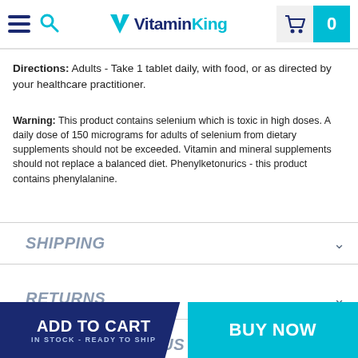VitaminKing
Directions: Adults - Take 1 tablet daily, with food, or as directed by your healthcare practitioner.
Warning: This product contains selenium which is toxic in high doses. A daily dose of 150 micrograms for adults of selenium from dietary supplements should not be exceeded. Vitamin and mineral supplements should not replace a balanced diet. Phenylketonurics - this product contains phenylalanine.
SHIPPING
RETURNS
WHY BUY FROM US
ADD TO CART IN STOCK - READY TO SHIP | BUY NOW